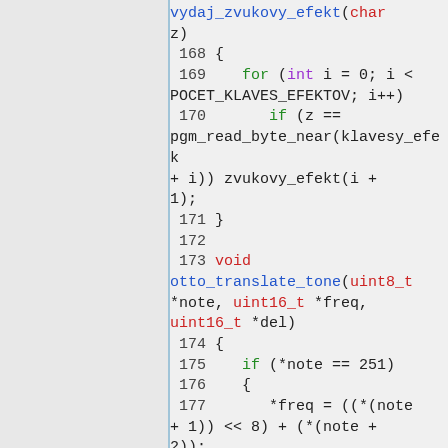[Figure (screenshot): Source code snippet showing C/C++ function vydaj_zvukovy_efekt and otto_translate_tone with syntax highlighting. Line numbers 168-179 visible. Keywords in blue/green/red, types in red/blue, numbers in grey.]